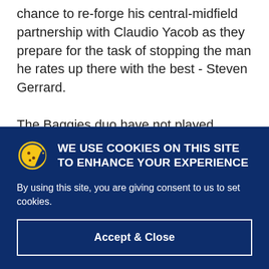chance to re-forge his central-midfield partnership with Claudio Yacob as they prepare for the task of stopping the man he rates up there with the best - Steven Gerrard.

The Baggies duo have not played together in over two months due to injuries and
WE USE COOKIES ON THIS SITE TO ENHANCE YOUR EXPERIENCE
By using this site, you are giving consent to us to set cookies.
Accept & Close